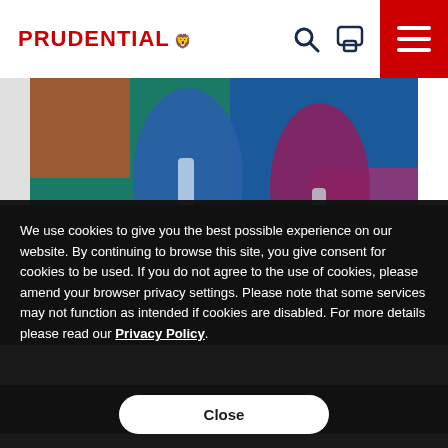PRUDENTIAL
[Figure (photo): Two people in athletic wear holding water bottles, standing against a colorful mural background with teal, red, and orange colors]
We use cookies to give you the best possible experience on our website. By continuing to browse this site, you give consent for cookies to be used. If you do not agree to the use of cookies, please amend your browser privacy settings. Please note that some services may not function as intended if cookies are disabled. For more details please read our Privacy Policy.
Close